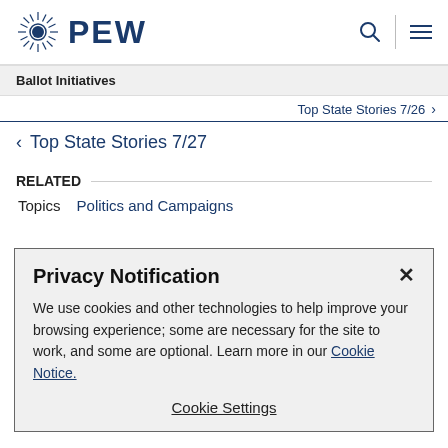PEW
Ballot Initiatives
Top State Stories 7/26
Top State Stories 7/27
RELATED
Topics   Politics and Campaigns
Privacy Notification
We use cookies and other technologies to help improve your browsing experience; some are necessary for the site to work, and some are optional. Learn more in our Cookie Notice.
Cookie Settings